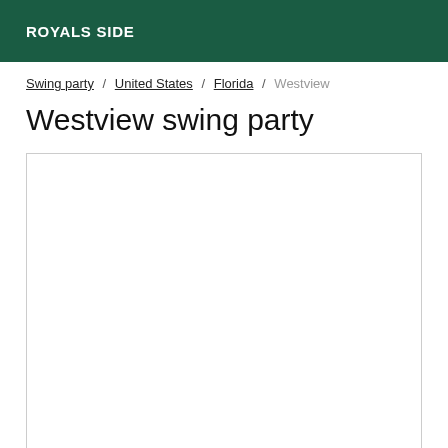ROYALS SIDE
Swing party / United States / Florida / Westview
Westview swing party
[Figure (other): Empty white content box with border]